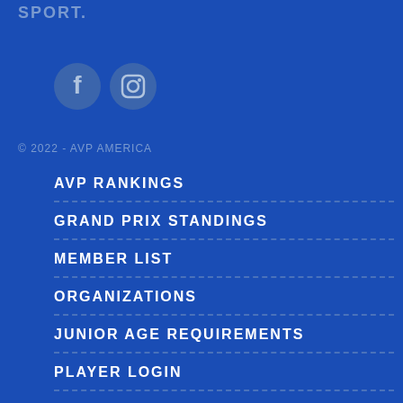SPORT.
[Figure (illustration): Social media icons: Facebook and Instagram circles]
© 2022 - AVP AMERICA
AVP RANKINGS
GRAND PRIX STANDINGS
MEMBER LIST
ORGANIZATIONS
JUNIOR AGE REQUIREMENTS
PLAYER LOGIN
SHOP
NEWS